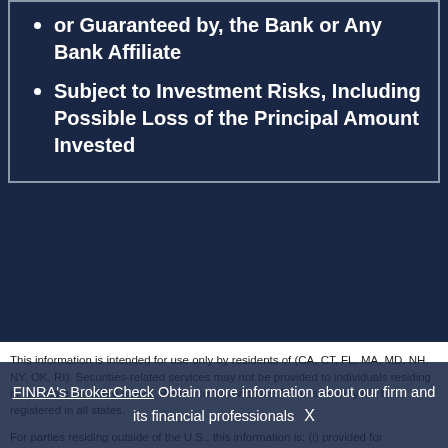or Guaranteed by, the Bank or Any Bank Affiliate
Subject to Investment Risks, Including Possible Loss of the Principal Amount Invested
This information is intended for use only by residents of (CA, CT, FL, MA, MD, NH, NY, OK, RI). Securities-related services may not be provided to individuals residing in any state not listed above. Please consult with the FA as s/he may not be registered in all states.
For parties residing outside of the U.S., this information is: (i) provided for informational purposes only, (ii) not and should not be construed in any manner as an offer to participate in any investment or to buy or sell any securities or related financial instruments, and (iii) not and should not be construed in any manner as a public offering of any financial services, securities or related financial instruments. Products and services listed may not be available, or may have restrictions, depending on client country of residence.
FINRA's BrokerCheck Obtain more information about our firm and its financial professionals X